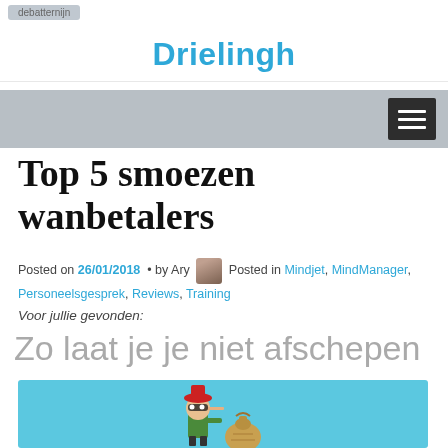debatternijn
Drielingh
[Figure (screenshot): Navigation bar with hamburger menu icon on dark background button]
Top 5 smoezen wanbetalers
Posted on 26/01/2018 • by Ary Posted in Mindjet, MindManager, Personeelsgesprek, Reviews, Training
Voor jullie gevonden:
Zo laat je je niet afschepen
[Figure (photo): Photo of cartoon/toy figure of a thief in red hat and mask next to a money bag, on light blue background]